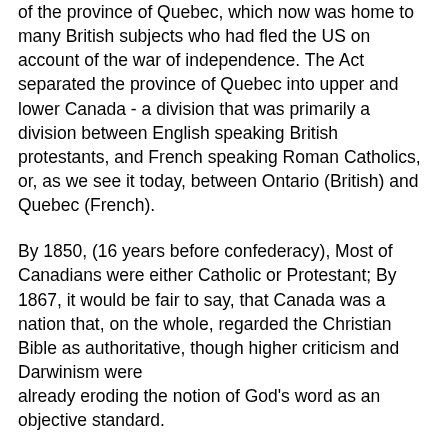of the province of Quebec, which now was home to many British subjects who had fled the US on account of the war of independence. The Act separated the province of Quebec into upper and lower Canada - a division that was primarily a division between English speaking British protestants, and French speaking Roman Catholics, or, as we see it today, between Ontario (British) and Quebec (French).
By 1850, (16 years before confederacy), Most of Canadians were either Catholic or Protestant; By 1867, it would be fair to say, that Canada was a nation that, on the whole, regarded the Christian Bible as authoritative, though higher criticism and Darwinism were already eroding the notion of God's word as an objective standard.
The question then, when we use a phrase such as Christian Heritage, in the venue of Canadian Policy, we must ask, which Christian Heritage? The Roman Catholic Heritage, or the Protestant Heritage? Are we talking about the low or high ebb of these various heritages? Presumably, since confederation took place in 1867, and because we are